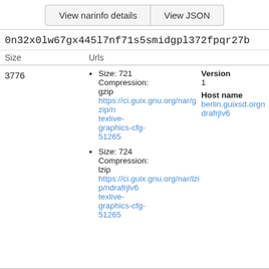View narinfo details | View JSON
0n32x0lw67gx445l7nf71s5smidgpl372fpqr27b
| Size | Urls |
| --- | --- |
| 3776 | • Size: 721 Compression: gzip https://ci.guix.gnu.org/nar/gzip/ndrafrjlv6... texlive-graphics-cfg-51265
• Size: 724 Compression: lzip https://ci.guix.gnu.org/nar/lzip/ndrafrjlv6... texlive-graphics-cfg-51265 |
Version
1
Host name
berlin.guixsd.org